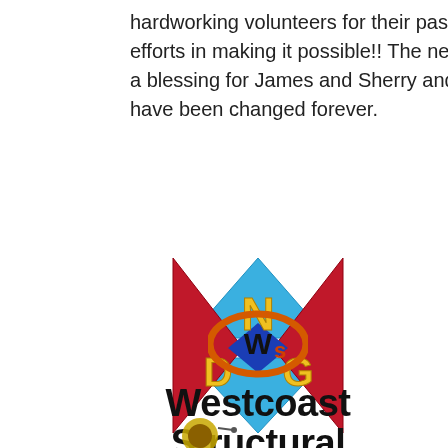hardworking volunteers for their passionate efforts in making it possible!! The new ramp is a blessing for James and Sherry and their lives have been changed forever.
[Figure (logo): NDG logo — geometric hourglass/bowtie shape in blue and red with letters N, D, G in gold, with tagline 'Nilles Design Group, Inc.' in orange italic]
[Figure (logo): Westcoast Structural Concrete & Masonry logo — orange oval with 'Ws' initials, bold black text 'Westcoast Structural', orange subtitle 'CONCRETE & MASONRY']
[Figure (logo): Partial logo at bottom of page, partially cropped]